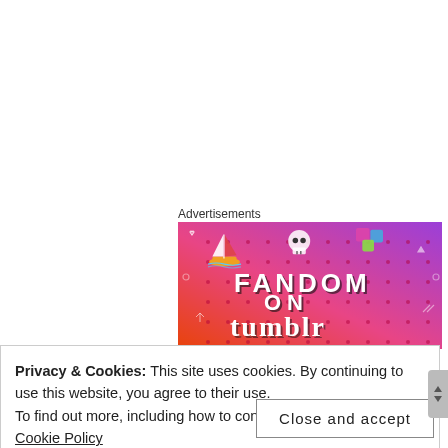Advertisements
[Figure (illustration): Fandom on Tumblr advertisement banner with colorful gradient background (orange to purple), featuring text 'FANDOM ON tumblr' in bold white/black letters, with illustrated icons including a sailboat, skull, dice, and various doodles]
Privacy & Cookies: This site uses cookies. By continuing to use this website, you agree to their use.
To find out more, including how to control cookies, see here: Cookie Policy
Close and accept